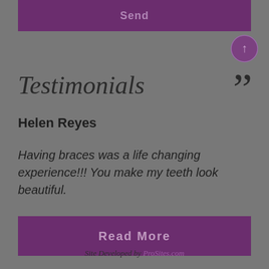Send
Testimonials
Helen Reyes
Having braces was a life changing experience!!! You make my teeth look beautiful.
Read More
Site Developed by ProSites.com